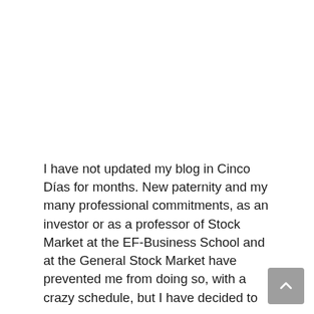I have not updated my blog in Cinco Días for months. New paternity and my many professional commitments, as an investor or as a professor of Stock Market at the EF-Business School and at the General Stock Market have prevented me from doing so, with a crazy schedule, but I have decided to